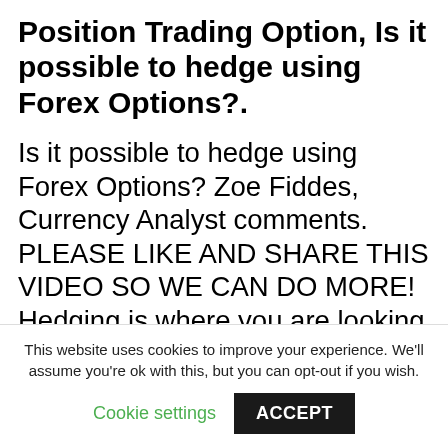Position Trading Option, Is it possible to hedge using Forex Options?.
Is it possible to hedge using Forex Options? Zoe Fiddes, Currency Analyst comments. PLEASE LIKE AND SHARE THIS VIDEO SO WE CAN DO MORE! Hedging is where you are looking to eliminate or decrease risk on a trade. So there are ways of hedging in currency movements – so if you hold a position in say, EUR/USD but this Friday is non-farm payrolls and you are worried that
This website uses cookies to improve your experience. We'll assume you're ok with this, but you can opt-out if you wish.